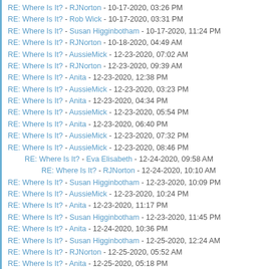RE: Where Is It? - RJNorton - 10-17-2020, 03:26 PM
RE: Where Is It? - Rob Wick - 10-17-2020, 03:31 PM
RE: Where Is It? - Susan Higginbotham - 10-17-2020, 11:24 PM
RE: Where Is It? - RJNorton - 10-18-2020, 04:49 AM
RE: Where Is It? - AussieMick - 12-23-2020, 07:02 AM
RE: Where Is It? - RJNorton - 12-23-2020, 09:39 AM
RE: Where Is It? - Anita - 12-23-2020, 12:38 PM
RE: Where Is It? - AussieMick - 12-23-2020, 03:23 PM
RE: Where Is It? - Anita - 12-23-2020, 04:34 PM
RE: Where Is It? - AussieMick - 12-23-2020, 05:54 PM
RE: Where Is It? - Anita - 12-23-2020, 06:40 PM
RE: Where Is It? - AussieMick - 12-23-2020, 07:32 PM
RE: Where Is It? - AussieMick - 12-23-2020, 08:46 PM
RE: Where Is It? - Eva Elisabeth - 12-24-2020, 09:58 AM (indent 1)
RE: Where Is It? - RJNorton - 12-24-2020, 10:10 AM (indent 2)
RE: Where Is It? - Susan Higginbotham - 12-23-2020, 10:09 PM
RE: Where Is It? - AussieMick - 12-23-2020, 10:24 PM
RE: Where Is It? - Anita - 12-23-2020, 11:17 PM
RE: Where Is It? - Susan Higginbotham - 12-23-2020, 11:45 PM
RE: Where Is It? - Anita - 12-24-2020, 10:36 PM
RE: Where Is It? - Susan Higginbotham - 12-25-2020, 12:24 AM
RE: Where Is It? - RJNorton - 12-25-2020, 05:52 AM
RE: Where Is It? - Anita - 12-25-2020, 05:18 PM
RE: Where Is It? - Susan Higginbotham - 12-25-2020, 05:52 PM
RE: Where Is It? - RJNorton - 12-25-2020, 06:00 PM